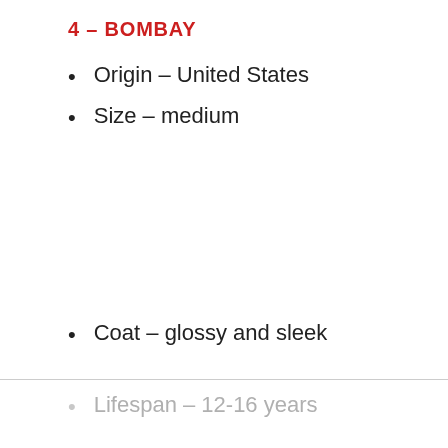4 – BOMBAY
Origin – United States
Size – medium
Coat – glossy and sleek
Lifespan – 12-16 years